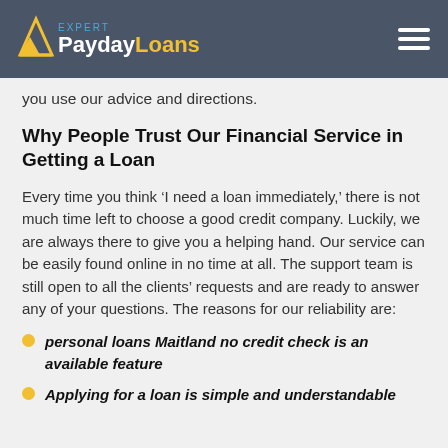Expert PaydayLoans
you use our advice and directions.
Why People Trust Our Financial Service in Getting a Loan
Every time you think ‘I need a loan immediately,’ there is not much time left to choose a good credit company. Luckily, we are always there to give you a helping hand. Our service can be easily found online in no time at all. The support team is still open to all the clients’ requests and are ready to answer any of your questions. The reasons for our reliability are:
personal loans Maitland no credit check is an available feature
Applying for a loan is simple and understandable